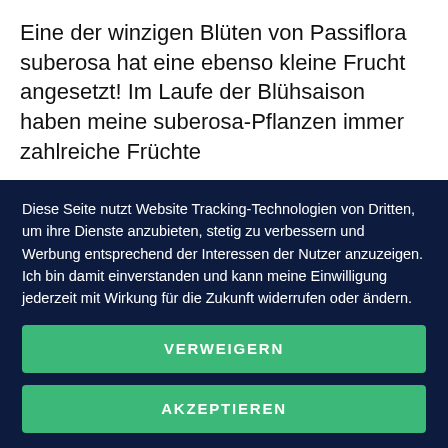Eine der winzigen Blüten von Passiflora suberosa hat eine ebenso kleine Frucht angesetzt! Im Laufe der Blühsaison haben meine suberosa-Pflanzen immer zahlreiche Früchte
Diese Seite nutzt Website Tracking-Technologien von Dritten, um ihre Dienste anzubieten, stetig zu verbessern und Werbung entsprechend der Interessen der Nutzer anzuzeigen. Ich bin damit einverstanden und kann meine Einwilligung jederzeit mit Wirkung für die Zukunft widerrufen oder ändern.
VERWEIGERN
AKZEPTIEREN
MEHR
Powered by usercentrics & PRIVE